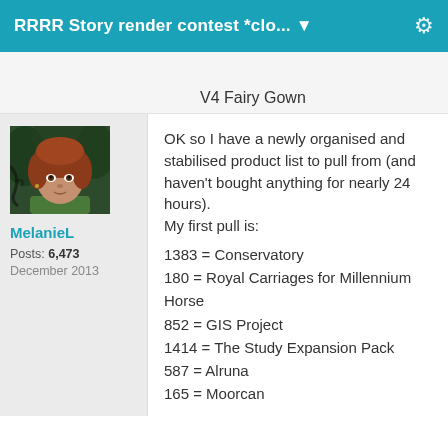RRRR Story render contest *clo... ▼
V4 Fairy Gown
[Figure (photo): Avatar portrait of a female 3D character with reddish-brown hair wearing a green outfit, against a dark background]
MelanieL
Posts: 6,473
December 2013
OK so I have a newly organised and stabilised product list to pull from (and haven't bought anything for nearly 24 hours). My first pull is:
1383 = Conservatory
180 = Royal Carriages for Millennium Horse
852 = GIS Project
1414 = The Study Expansion Pack
587 = Alruna
165 = Moorcan